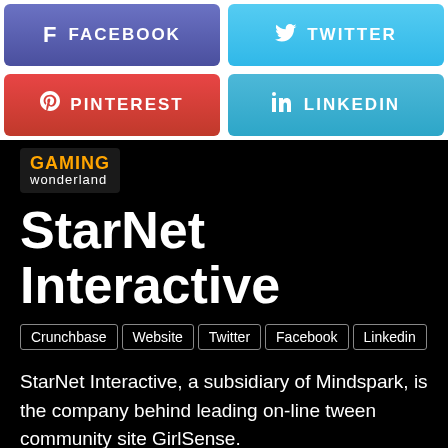[Figure (infographic): Social media share buttons: Facebook (purple), Twitter (light blue), Pinterest (red), LinkedIn (blue)]
[Figure (logo): Gaming Wonderland logo with orange GAMING text and white wonderland text on dark background]
StarNet Interactive
Crunchbase
Website
Twitter
Facebook
Linkedin
StarNet Interactive, a subsidiary of Mindspark, is the company behind leading on-line tween community site GirlSense.